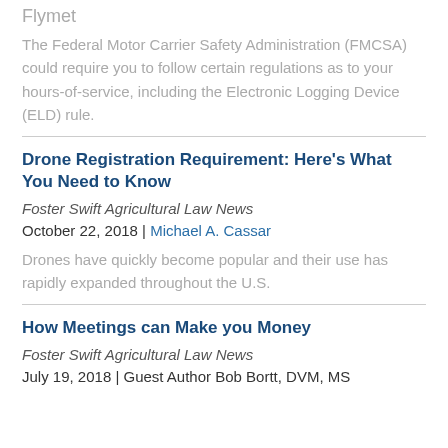Flymet
The Federal Motor Carrier Safety Administration (FMCSA) could require you to follow certain regulations as to your hours-of-service, including the Electronic Logging Device (ELD) rule.
Drone Registration Requirement: Here’s What You Need to Know
Foster Swift Agricultural Law News
October 22, 2018 | Michael A. Cassar
Drones have quickly become popular and their use has rapidly expanded throughout the U.S.
How Meetings can Make you Money
Foster Swift Agricultural Law News
July 19, 2018 | Guest Author Bob Bortt, DVM, MS